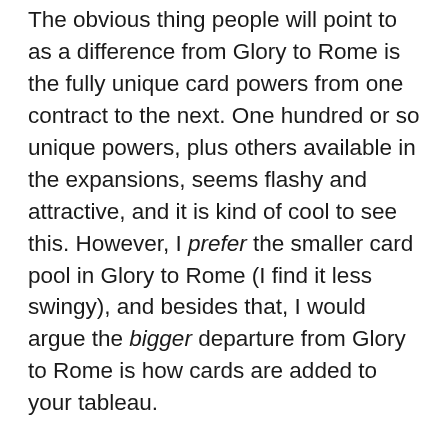The obvious thing people will point to as a difference from Glory to Rome is the fully unique card powers from one contract to the next. One hundred or so unique powers, plus others available in the expansions, seems flashy and attractive, and it is kind of cool to see this. However, I prefer the smaller card pool in Glory to Rome (I find it less swingy), and besides that, I would argue the bigger departure from Glory to Rome is how cards are added to your tableau.
In Glory to Rome, players lay a foundation on a building site, add a fixed number of materials to it, and then get the benefit of the building (plus additional influence). There is no limit to the number of foundations you can start, and in some games, I've started buildings liberally if only to speed the end of